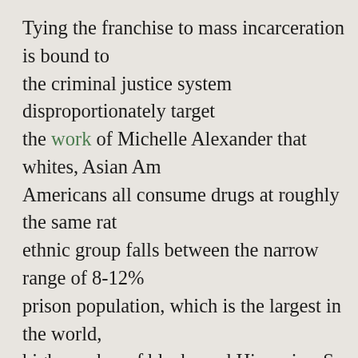Tying the franchise to mass incarceration is bound to [cut off] the criminal justice system disproportionately target[s] the work of Michelle Alexander that whites, Asian Am[ericans, and] Americans all consume drugs at roughly the same rat[e, each] ethnic group falls between the narrow range of 8-12%[.] The prison population, which is the largest in the world, [has a] high number of blacks and Hispanics. So when Florid[a bans] felony, it violates the principle of equality under the [law and] that are likely to vote for Democrats.

In November 2018, Florida voters had a chance to beg[in.] A proposed ballot initiative, Amendment 4, would prov[ide voting] rights after ex-felons had served their time and proba[tion, if the crime] committed was not a sex crime. The amendment need[ed 60% to] become law. Surprisingly, it got 65%. Sensing the eros[ion,] Republicans dragged their heels and erected new obs[tacles] that the former times of democracy recall of the [...]